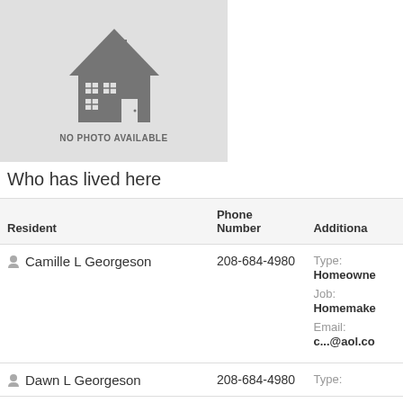[Figure (illustration): Gray placeholder box with a house icon and text 'NO PHOTO AVAILABLE']
Who has lived here
| Resident | Phone Number | Additional |
| --- | --- | --- |
| Camille L Georgeson | 208-684-4980 | Type: Homeowner
Job: Homemaker
Email: c...@aol.co |
| Dawn L Georgeson | 208-684-4980 | Type: |